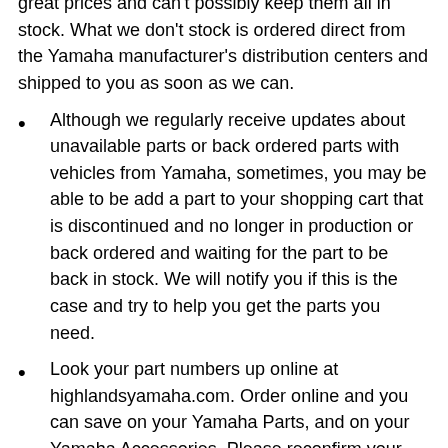great prices and can't possibly keep them all in stock. What we don't stock is ordered direct from the Yamaha manufacturer's distribution centers and shipped to you as soon as we can.
Although we regularly receive updates about unavailable parts or back ordered parts with vehicles from Yamaha, sometimes, you may be able to be add a part to your shopping cart that is discontinued and no longer in production or back ordered and waiting for the part to be back in stock. We will notify you if this is the case and try to help you get the parts you need.
Look your part numbers up online at highlandsyamaha.com. Order online and you can save on your Yamaha Parts, and on your Yamaha Accessories. Please reconfirm your part numbers prior to placing your order.
On occasion, the online shipping calculator will not recognize the LARGE SIZE of large-lightweight-items such as plastics, fenders, runners, frames, etc. When your items are packed by us for shipping and there is an